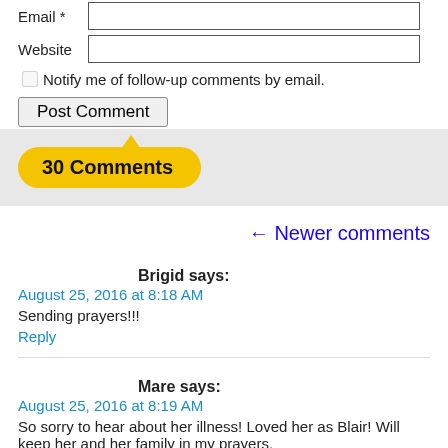Email *
Website
Notify me of follow-up comments by email.
Post Comment
30 Comments
← Newer comments
Brigid says:
August 25, 2016 at 8:18 AM
Sending prayers!!!
Reply
Mare says:
August 25, 2016 at 8:19 AM
So sorry to hear about her illness! Loved her as Blair! Will keep her and her family in my prayers.